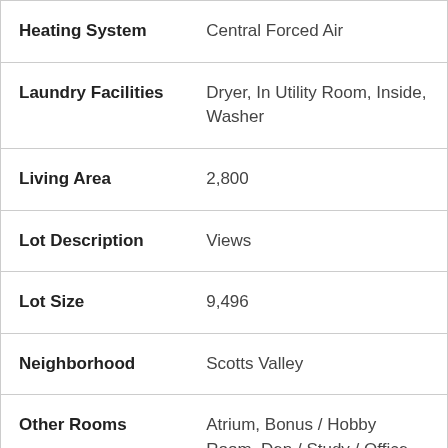| Property Feature | Value |
| --- | --- |
| Heating System | Central Forced Air |
| Laundry Facilities | Dryer, In Utility Room, Inside, Washer |
| Living Area | 2,800 |
| Lot Description | Views |
| Lot Size | 9,496 |
| Neighborhood | Scotts Valley |
| Other Rooms | Atrium, Bonus / Hobby Room, Den / Study / Office, Office Area, Solarium, Storage, Utility Room |
| Other Utilities | Individual Electric Meters, Individual Gas Meters, Natural |